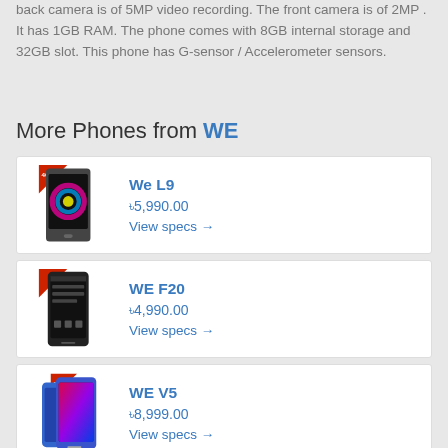back camera is of 5MP video recording. The front camera is of 2MP . It has 1GB RAM. The phone comes with 8GB internal storage and 32GB slot. This phone has G-sensor / Accelerometer sensors.
More Phones from WE
We L9
৳5,990.00
View specs →
WE F20
৳4,990.00
View specs →
WE V5
৳8,999.00
View specs →
WE B3
৳9,999.00